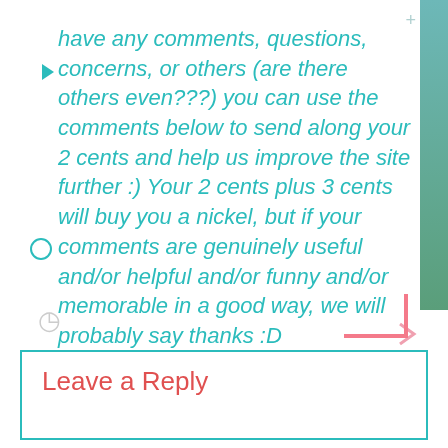have any comments, questions, concerns, or others (are there others even???) you can use the comments below to send along your 2 cents and help us improve the site further :) Your 2 cents plus 3 cents will buy you a nickel, but if your comments are genuinely useful and/or helpful and/or funny and/or memorable in a good way, we will probably say thanks :D
Leave a Reply